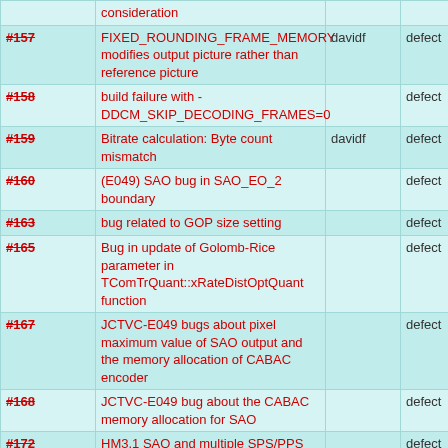| ID | Description | Assignee | Type |
| --- | --- | --- | --- |
| #157 | FIXED_ROUNDING_FRAME_MEMORY modifies output picture rather than reference picture | davidf | defect |
| #158 | build failure with -DDCM_SKIP_DECODING_FRAMES=0 |  | defect |
| #159 | Bitrate calculation: Byte count mismatch | davidf | defect |
| #160 | (E049) SAO bug in SAO_EO_2 boundary |  | defect |
| #163 | bug related to GOP size setting |  | defect |
| #165 | Bug in update of Golomb-Rice parameter in TComTrQuant::xRateDistOptQuant function |  | defect |
| #167 | JCTVC-E049 bugs about pixel maximum value of SAO output and the memory allocation of CABAC encoder |  | defect |
| #168 | JCTVC-E049 bug about the CABAC memory allocation for SAO |  | defect |
| #172 | HM3.1 SAO and multiple SPS/PPS |  | defect |
| #173 | More contexts defined for CABAC than actually used |  | defect |
| #174 | MVP index bits not accounted for when comparing candidates in xCheckBestMVP |  | defect |
| #175 | Clipping in removeHighFreq considered slightly harmful |  | defect |
| #176 | Code duplication in... |  | enhancement |